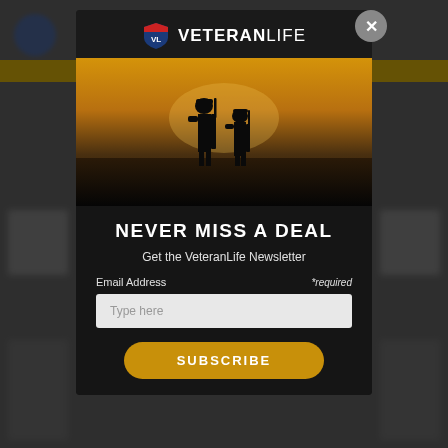[Figure (screenshot): VeteranLife website screenshot showing a newsletter signup modal popup over a blurred website background. The modal has the VeteranLife logo at top, a hero image of two soldier silhouettes, headline 'NEVER MISS A DEAL', subtitle 'Get the VeteranLife Newsletter', email input field, and a gold Subscribe button. A close (X) button appears in top-right corner.]